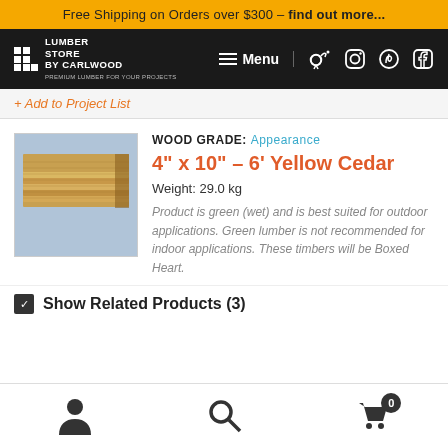Free Shipping on Orders over $300 – find out more...
[Figure (logo): Lumber Store by Carlwood logo with grid squares and text, navigation bar with Menu, social icons]
+ Add to Project List
[Figure (photo): Photo of stacked yellow cedar lumber boards]
WOOD GRADE: Appearance
4" x 10" – 6' Yellow Cedar
Weight: 29.0 kg
Product is green (wet) and is best suited for outdoor applications. Green lumber is not recommended for indoor applications. These timbers will be Boxed Heart.
Show Related Products (3)
user icon, search icon, cart icon (0)